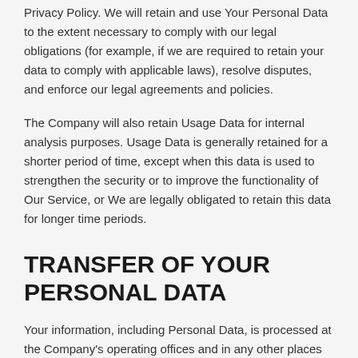Privacy Policy. We will retain and use Your Personal Data to the extent necessary to comply with our legal obligations (for example, if we are required to retain your data to comply with applicable laws), resolve disputes, and enforce our legal agreements and policies.
The Company will also retain Usage Data for internal analysis purposes. Usage Data is generally retained for a shorter period of time, except when this data is used to strengthen the security or to improve the functionality of Our Service, or We are legally obligated to retain this data for longer time periods.
TRANSFER OF YOUR PERSONAL DATA
Your information, including Personal Data, is processed at the Company's operating offices and in any other places where the parties involved in the processing are situated.